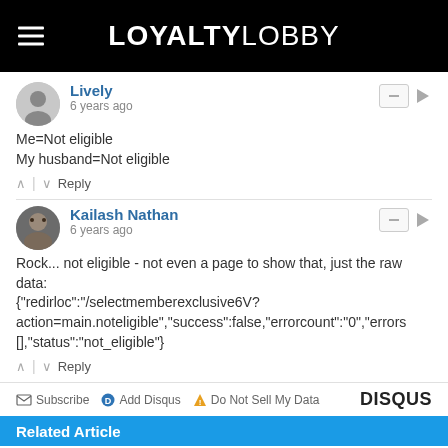LOYALTYLOBBY
Lively
6 years ago
Me=Not eligible
My husband=Not eligible
Kailash Nathan
6 years ago
Rock... not eligible - not even a page to show that, just the raw data:
{"redirloc":"/selectmemberexclusive6V?action=main.noteligible","success":false,"errorcount":"0","errors[]},"status":"not_eligible"}
Subscribe  Add Disqus  Do Not Sell My Data  DISQUS